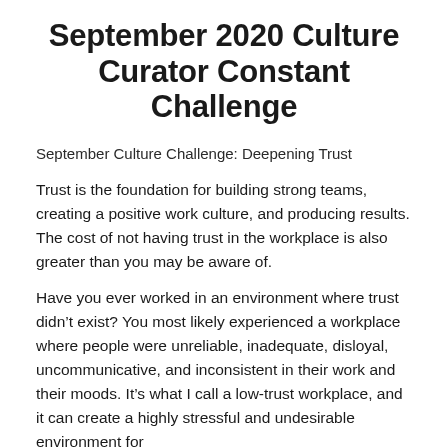September 2020 Culture Curator Constant Challenge
September Culture Challenge: Deepening Trust
Trust is the foundation for building strong teams, creating a positive work culture, and producing results. The cost of not having trust in the workplace is also greater than you may be aware of.
Have you ever worked in an environment where trust didn’t exist? You most likely experienced a workplace where people were unreliable, inadequate, disloyal, uncommunicative, and inconsistent in their work and their moods. It’s what I call a low-trust workplace, and it can create a highly stressful and undesirable environment for